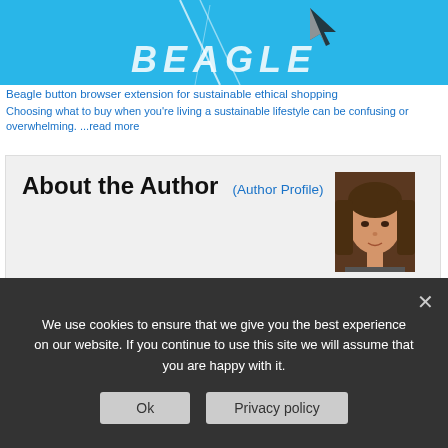[Figure (screenshot): Top banner showing blue background with 'BEAGLE' text, diagonal white lines, and cursor arrow icon]
Beagle button browser extension for sustainable ethical shopping
Choosing what to buy when you're living a sustainable lifestyle can be confusing or overwhelming. ...read more
About the Author (Author Profile)
[Figure (photo): Author photo: a woman with dark brown hair looking at the camera]
I am a long time supporter of the Green and Sustainable lifestyle. After being caught in the Boscastle floods in 2004, our family begun a journey to respect and promote the importance of Earth's fragile ecosystem, that focussed on reducing waste. Inspired by the beauty and resourcefulness of this wonderful planet, I have published numerous magazine articles on green issues and the author of four books.
We use cookies to ensure that we give you the best experience on our website. If you continue to use this site we will assume that you are happy with it.